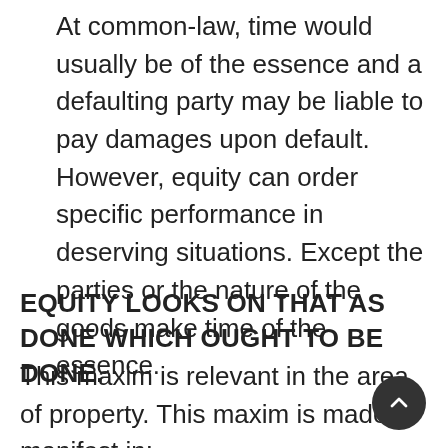At common-law, time would usually be of the essence and a defaulting party may be liable to pay damages upon default. However, equity can order specific performance in deserving situations. Except the parties or the nature of the goods make time of the essence.
EQUITY LOOKS ON THAT AS DONE WHICH OUGHT TO BE DONE.
This maxim is relevant in the area of property. This maxim is made manifest in: